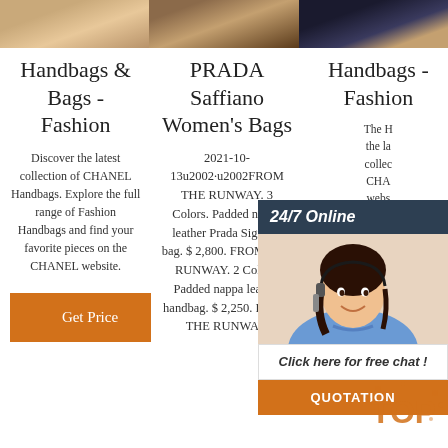[Figure (photo): Three horizontal product images of handbags/fashion items at top of page]
Handbags & Bags - Fashion
Discover the latest collection of CHANEL Handbags. Explore the full range of Fashion Handbags and find your favorite pieces on the CHANEL website.
PRADA Saffiano Women's Bags
2021-10-13u2002·u2002FROM THE RUNWAY. 3 Colors. Padded nappa leather Prada Signaux bag. $ 2,800. FROM THE RUNWAY. 2 Colors. Padded nappa leather handbag. $ 2,250. FROM THE RUNWAY.
Handbags - Fashion
The H... the la... collec... CHAN... webs... 2.55... Embro... Glas... Silver-... Mini B... Faded Metallic Mesh & Gold-Tone Metal. Contrasts in two-tone. Mini Evening Bag. Plexi & Black Metal
[Figure (infographic): Chat overlay with 24/7 Online header, customer service agent photo, Click here for free chat text, and QUOTATION button]
[Figure (logo): TOP watermark logo with orange dots]